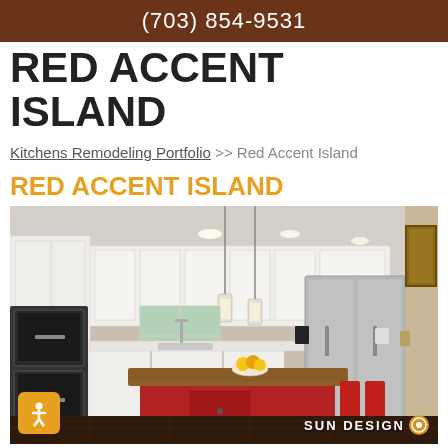(703) 854-9531
RED ACCENT ISLAND
Kitchens Remodeling Portfolio >> Red Accent Island
RED ACCENT ISLAND
[Figure (photo): Kitchen remodeling photo showing a red accent island with a butcher block wood top, white cabinets, stainless steel appliances including double wall ovens and French door refrigerator, pendant lighting, and dark hardwood floors. A bowl of fruit sits on the island. Sun Design watermark in bottom right corner.]